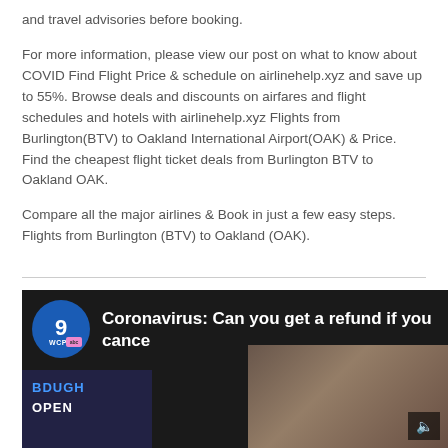and travel advisories before booking.
For more information, please view our post on what to know about COVID Find Flight Price & schedule on airlinehelp.xyz and save up to 55%. Browse deals and discounts on airfares and flight schedules and hotels with airlinehelp.xyz Flights from Burlington(BTV) to Oakland International Airport(OAK) & Price. Find the cheapest flight ticket deals from Burlington BTV to Oakland OAK.
Compare all the major airlines & Book in just a few easy steps. Flights from Burlington (BTV) to Oakland (OAK).
[Figure (screenshot): Video thumbnail showing WCPO 9 ABC News logo and title 'Coronavirus: Can you get a refund if you cance...' with a woman gesturing in the background]